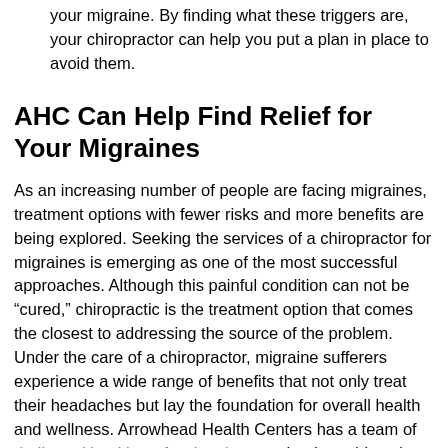your migraine. By finding what these triggers are, your chiropractor can help you put a plan in place to avoid them.
AHC Can Help Find Relief for Your Migraines
As an increasing number of people are facing migraines, treatment options with fewer risks and more benefits are being explored. Seeking the services of a chiropractor for migraines is emerging as one of the most successful approaches. Although this painful condition can not be “cured,” chiropractic is the treatment option that comes the closest to addressing the source of the problem. Under the care of a chiropractor, migraine sufferers experience a wide range of benefits that not only treat their headaches but lay the foundation for overall health and wellness. Arrowhead Health Centers has a team of dedicated health professionals committed to addressing your